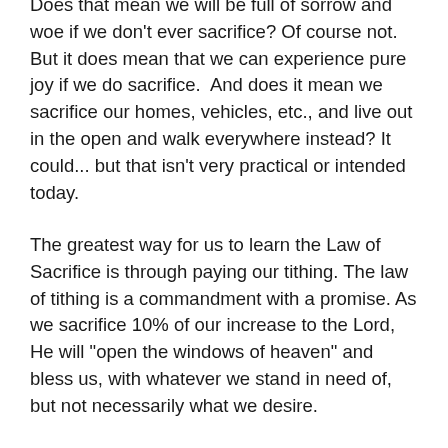Does that mean we will be full of sorrow and woe if we don't ever sacrifice? Of course not. But it does mean that we can experience pure joy if we do sacrifice.  And does it mean we sacrifice our homes, vehicles, etc., and live out in the open and walk everywhere instead? It could... but that isn't very practical or intended today.
The greatest way for us to learn the Law of Sacrifice is through paying our tithing. The law of tithing is a commandment with a promise. As we sacrifice 10% of our increase to the Lord, He will "open the windows of heaven" and bless us, with whatever we stand in need of, but not necessarily what we desire.